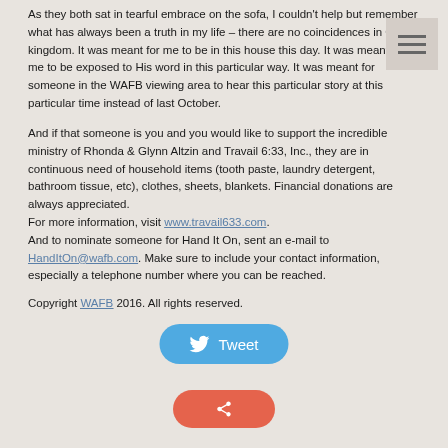As they both sat in tearful embrace on the sofa, I couldn't help but remember what has always been a truth in my life – there are no coincidences in God's kingdom. It was meant for me to be in this house this day. It was meant for me to be exposed to His word in this particular way. It was meant for someone in the WAFB viewing area to hear this particular story at this particular time instead of last October.
And if that someone is you and you would like to support the incredible ministry of Rhonda & Glynn Altzin and Travail 6:33, Inc., they are in continuous need of household items (tooth paste, laundry detergent, bathroom tissue, etc), clothes, sheets, blankets. Financial donations are always appreciated.
For more information, visit www.travail633.com.
And to nominate someone for Hand It On, sent an e-mail to HandItOn@wafb.com. Make sure to include your contact information, especially a telephone number where you can be reached.
Copyright WAFB 2016. All rights reserved.
[Figure (other): Tweet button (blue rounded button with Twitter bird icon and 'Tweet' text)]
[Figure (other): Share button (red/orange rounded button, partially visible at bottom)]